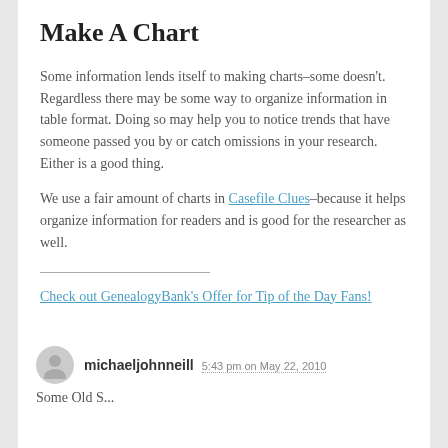Make A Chart
Some information lends itself to making charts–some doesn't. Regardless there may be some way to organize information in table format. Doing so may help you to notice trends that have someone passed you by or catch omissions in your research. Either is a good thing.
We use a fair amount of charts in Casefile Clues–because it helps organize information for readers and is good for the researcher as well.
Check out GenealogyBank's Offer for Tip of the Day Fans!
michaeljohnneill 5:43 pm on May 22, 2010
Some Old S...